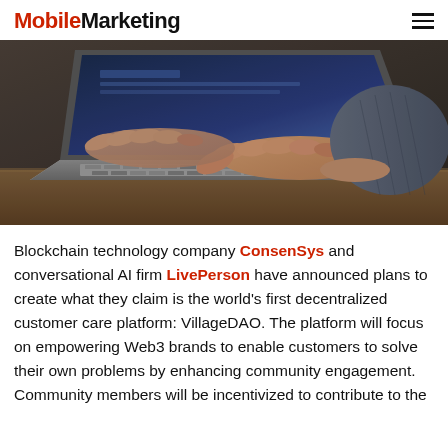MobileMarketing
[Figure (photo): Close-up photo of a person typing on a MacBook laptop on a wooden desk, viewed from the side, showing hands on keyboard.]
Blockchain technology company ConsenSys and conversational AI firm LivePerson have announced plans to create what they claim is the world's first decentralized customer care platform: VillageDAO. The platform will focus on empowering Web3 brands to enable customers to solve their own problems by enhancing community engagement. Community members will be incentivized to contribute to the